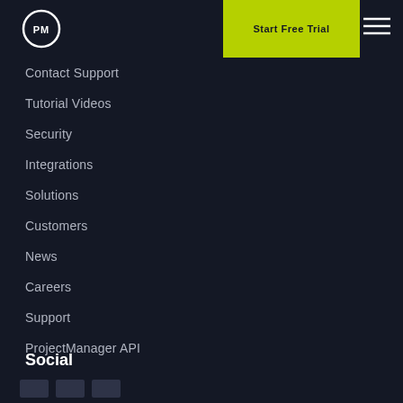[Figure (logo): PM logo circle with 'PM' text inside]
Start Free Trial
[Figure (illustration): Hamburger menu icon (three horizontal lines)]
Contact Support
Tutorial Videos
Security
Integrations
Solutions
Customers
News
Careers
Support
ProjectManager API
Social
[Figure (illustration): Three small social media icon boxes]